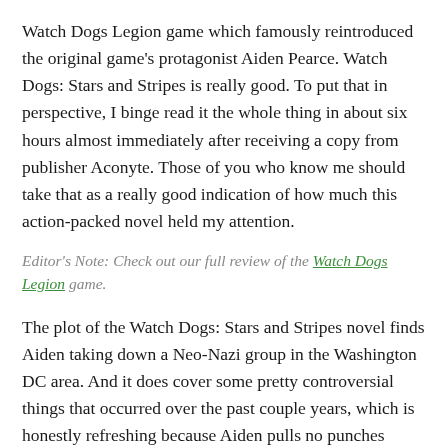Watch Dogs Legion game which famously reintroduced the original game's protagonist Aiden Pearce. Watch Dogs: Stars and Stripes is really good. To put that in perspective, I binge read it the whole thing in about six hours almost immediately after receiving a copy from publisher Aconyte. Those of you who know me should take that as a really good indication of how much this action-packed novel held my attention.
Editor's Note: Check out our full review of the Watch Dogs Legion game.
The plot of the Watch Dogs: Stars and Stripes novel finds Aiden taking down a Neo-Nazi group in the Washington DC area. And it does cover some pretty controversial things that occurred over the past couple years, which is honestly refreshing because Aiden pulls no punches when dealing with the scumbags in this book.
The book is not yet available
[Figure (photo): Partial image of a book cover with red tones visible at bottom right corner of page]